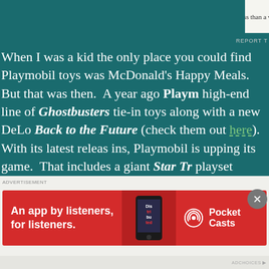When I was a kid the only place you could find Playmobil toys was McDonald's Happy Meals. But that was then. A year ago Playmobil launched a high-end line of Ghostbusters tie-in toys along with a new DeLorean for Back to the Future (check them out here). With its latest releases ins, Playmobil is upping its game. That includes a giant Star Trek playset chock full of figures (including the original series' nicely Modern Burke bridge chairs!). It also includes James Bond's Aston Martin from Goldfinger and brought back for No Time to Die. And their A-Team is being promoted with a slick commercial that is not all out below, including links to be the first to nab yours from Earth, with Amazon currently running a 25% discount promotion. playset.
[Figure (screenshot): Advertisement banner for Pocket Casts app - red background with text 'An app by listeners, for listeners.' and Pocket Casts logo with phone graphic]